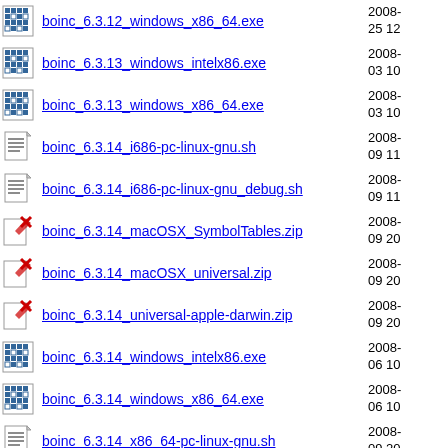boinc_6.3.12_windows_x86_64.exe  2008-25 12
boinc_6.3.13_windows_intelx86.exe  2008-03 10
boinc_6.3.13_windows_x86_64.exe  2008-03 10
boinc_6.3.14_i686-pc-linux-gnu.sh  2008-09 11
boinc_6.3.14_i686-pc-linux-gnu_debug.sh  2008-09 11
boinc_6.3.14_macOSX_SymbolTables.zip  2008-09 20
boinc_6.3.14_macOSX_universal.zip  2008-09 20
boinc_6.3.14_universal-apple-darwin.zip  2008-09 20
boinc_6.3.14_windows_intelx86.exe  2008-06 10
boinc_6.3.14_windows_x86_64.exe  2008-06 10
boinc_6.3.14_x86_64-pc-linux-gnu.sh  2008-09 20